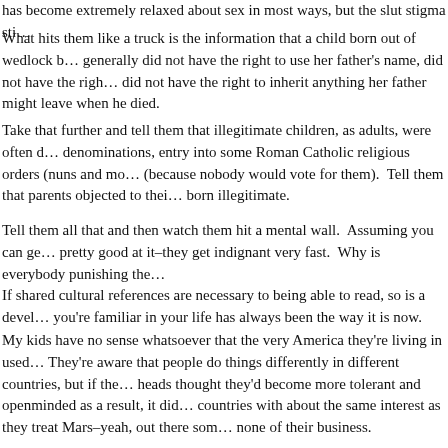has become extremely relaxed about sex in most ways, but the slut stigma sti...
What hits them like a truck is the information that a child born out of wedlock b... generally did not have the right to use her father's name, did not have the righ... did not have the right to inherit anything her father might leave when he died.
Take that further and tell them that illegitimate children, as adults, were often d... denominations, entry into some Roman Catholic religious orders (nuns and mo... (because nobody would vote for them). Tell them that parents objected to thei... born illegitimate.
Tell them all that and then watch them hit a mental wall. Assuming you can ge... pretty good at it–they get indignant very fast. Why is everybody punishing the...
If shared cultural references are necessary to being able to read, so is a devel... you're familiar in your life has always been the way it is now.
My kids have no sense whatsoever that the very America they're living in used... They're aware that people do things differently in different countries, but if the... heads thought they'd become more tolerant and openminded as a result, it did... countries with about the same interest as they treat Mars–yeah, out there som... none of their business.
But let me bring up an incident that happened in one of my classes. I'm pretty... this blog, but it's going to stick with me for as long as I live, so I think I'll repea...
I was trying to get my class to analyze a poem by Langston Hughes called "Th...